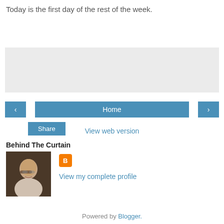Today is the first day of the rest of the week.
[Figure (screenshot): Gray share panel with a Share button]
[Figure (screenshot): Navigation row with left arrow, Home, and right arrow buttons]
View web version
Behind The Curtain
[Figure (photo): Profile photo of an older man with glasses smiling]
[Figure (logo): Blogger icon (orange square with B)]
View my complete profile
Powered by Blogger.